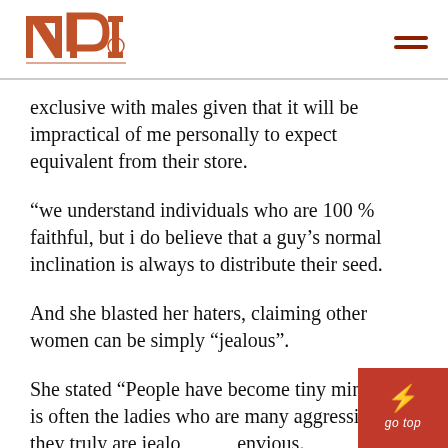INP [logo] [hamburger menu]
exclusive with males given that it will be impractical of me personally to expect equivalent from their store.
“we understand individuals who are 100 % faithful, but i do believe that a guy’s normal inclination is always to distribute their seed.
And she blasted her haters, claiming other women can be simply “jealous”.
She stated “People have become tiny minded, it is often the ladies who are many aggressive, they truly are jealous and envious.